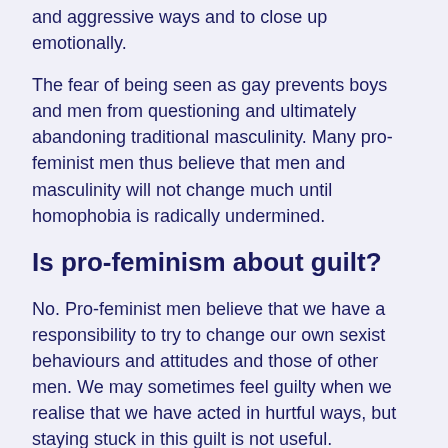and aggressive ways and to close up emotionally.
The fear of being seen as gay prevents boys and men from questioning and ultimately abandoning traditional masculinity. Many pro-feminist men thus believe that men and masculinity will not change much until homophobia is radically undermined.
Is pro-feminism about guilt?
No. Pro-feminist men believe that we have a responsibility to try to change our own sexist behaviours and attitudes and those of other men. We may sometimes feel guilty when we realise that we have acted in hurtful ways, but staying stuck in this guilt is not useful.
Guilt can be part of a normal response when a person is challenged or criticised about an inappropriate or